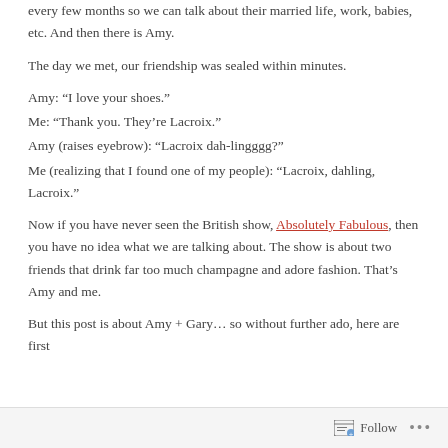every few months so we can talk about their married life, work, babies, etc. And then there is Amy.
The day we met, our friendship was sealed within minutes.
Amy: “I love your shoes.”
Me: “Thank you. They’re Lacroix.”
Amy (raises eyebrow): “Lacroix dah-lingggg?”
Me (realizing that I found one of my people): “Lacroix, dahling, Lacroix.”
Now if you have never seen the British show, Absolutely Fabulous, then you have no idea what we are talking about. The show is about two friends that drink far too much champagne and adore fashion. That’s Amy and me.
But this post is about Amy + Gary… so without further ado, here are first
Follow •••